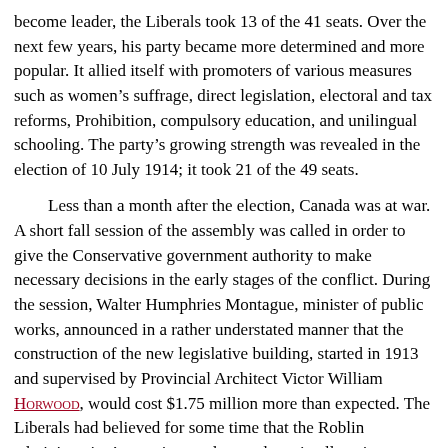become leader, the Liberals took 13 of the 41 seats. Over the next few years, his party became more determined and more popular. It allied itself with promoters of various measures such as women's suffrage, direct legislation, electoral and tax reforms, Prohibition, compulsory education, and unilingual schooling. The party's growing strength was revealed in the election of 10 July 1914; it took 21 of the 49 seats.

Less than a month after the election, Canada was at war. A short fall session of the assembly was called in order to give the Conservative government authority to make necessary decisions in the early stages of the conflict. During the session, Walter Humphries Montague, minister of public works, announced in a rather understated manner that the construction of the new legislative building, started in 1913 and supervised by Provincial Architect Victor William Horwood, would cost $1.75 million more than expected. The Liberals had believed for some time that the Roblin administration's practices and procedures in allocating